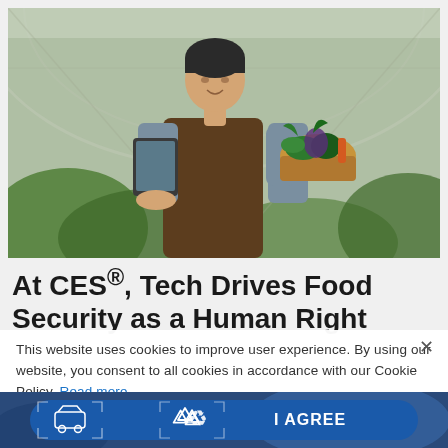[Figure (photo): Person in brown apron standing in a greenhouse, holding a tablet in one hand and a basket of fresh vegetables (greens, eggplant, carrots) in the other arm, smiling upward. Lush green plants and greenhouse structure visible in background.]
At CES®, Tech Drives Food Security as a Human Right
This website uses cookies to improve user experience. By using our website, you consent to all cookies in accordance with our Cookie Policy. Read more
[Figure (screenshot): Blue banner with I AGREE button and icons including a car outline and a recycling symbol, overlaid on a blurred blue technology background.]